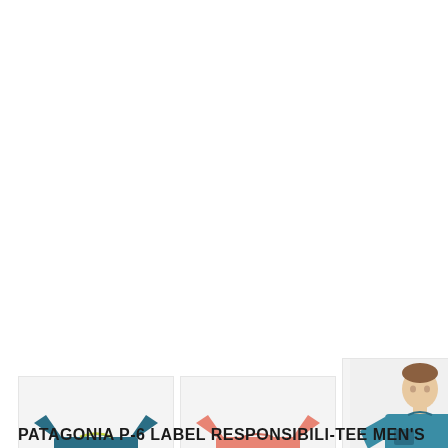[Figure (photo): Row of 5 product thumbnail images showing the Patagonia P-6 Label Responsibili-Tee Men's S/S Pocket T-Shirt. First: folded teal/dark blue shirt. Second: folded pink/salmon shirt. Third: male model wearing teal shirt, front view. Fourth: male model wearing teal shirt, back view. Fifth: partial view of male model wearing pink shirt.]
PATAGONIA P-6 LABEL RESPONSIBILI-TEE MEN'S S/S POCKET T-SHIRT
$39.00